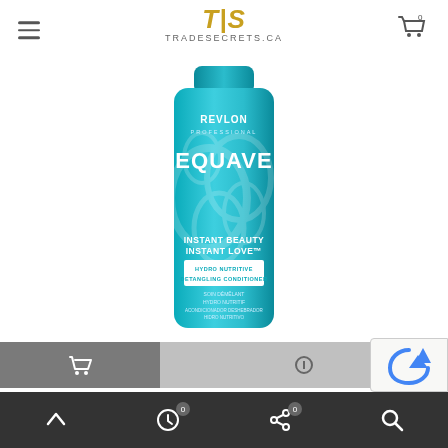TIS TRADESECRETS.CA
[Figure (photo): Revlon Professional Equave Hydro Nutritive Detangling Conditioner 200ml 6.7fl oz product bottle in teal/turquoise color with decorative swirl pattern]
[Figure (infographic): Two action buttons: grey cart button on left and lighter grey compare/balance button on right]
Revlon Equave Hydro Nutritive...
Navigation bar with up arrow, recently viewed (0), shared (0), and search icons